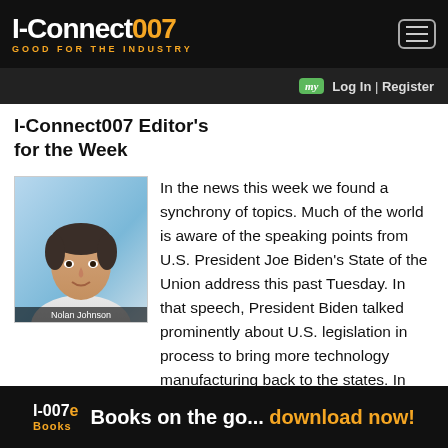I-Connect007 — GOOD FOR THE INDUSTRY
I-Connect007 Editor's for the Week
[Figure (photo): Headshot photo of Nolan Johnson with caption 'Nolan Johnson']
In the news this week we found a synchrony of topics. Much of the world is aware of the speaking points from U.S. President Joe Biden's State of the Union address this past Tuesday. In that speech, President Biden talked prominently about U.S. legislation in process to bring more technology manufacturing back to the states. In fact, Intel CEO Pat Gelsin...
I-007e Books — Books on the go... download now!